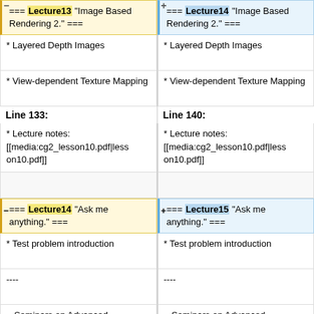=== Lecture13 "Image Based Rendering 2." ===
=== Lecture14 "Image Based Rendering 2." ===
* Layered Depth Images
* Layered Depth Images
* View-dependent Texture Mapping
* View-dependent Texture Mapping
Line 133:
Line 140:
* Lecture notes: [[media:cg2_lesson10.pdf|lesson10.pdf]]
* Lecture notes: [[media:cg2_lesson10.pdf|lesson10.pdf]]
=== Lecture14 "Ask me anything." ===
=== Lecture15 "Ask me anything." ===
* Test problem introduction
* Test problem introduction
----
----
= Seminars on Advanced Computer Graphics =
= Seminars on Advanced Computer Graphics =